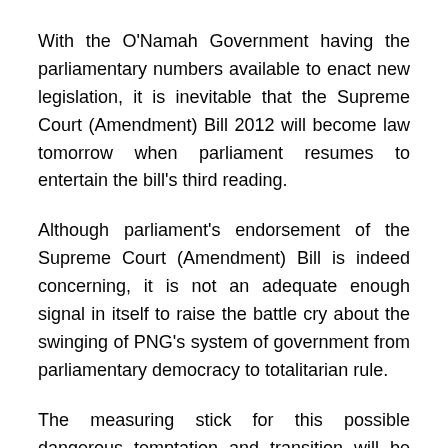With the O'Namah Government having the parliamentary numbers available to enact new legislation, it is inevitable that the Supreme Court (Amendment) Bill 2012 will become law tomorrow when parliament resumes to entertain the bill's third reading.
Although parliament's endorsement of the Supreme Court (Amendment) Bill is indeed concerning, it is not an adequate enough signal in itself to raise the battle cry about the swinging of PNG's system of government from parliamentary democracy to totalitarian rule.
The measuring stick for this possible dangerous temptation and transition will be the PNG General Election 2012.
It is now absolutely imperative that having the elections on